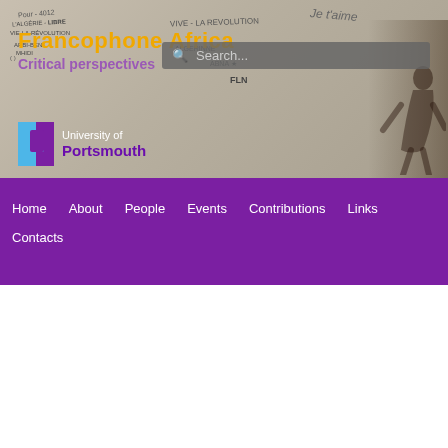[Figure (photo): Header image showing graffiti wall with text including 'VIVE LA REVOLUTION', 'FLN', 'Je t'aime', overlaid with University of Portsmouth logo and site title. A figure/person is visible on the right side.]
Search...
Francophone Africa Critical perspectives
[Figure (logo): University of Portsmouth logo — blue and purple P shape with University of Portsmouth text]
Home  About  People  Events  Contributions  Links  Contacts
TAG ARCHIVES: CITIZENSHIP
CANCELLED-Talk: Gendered and racialised